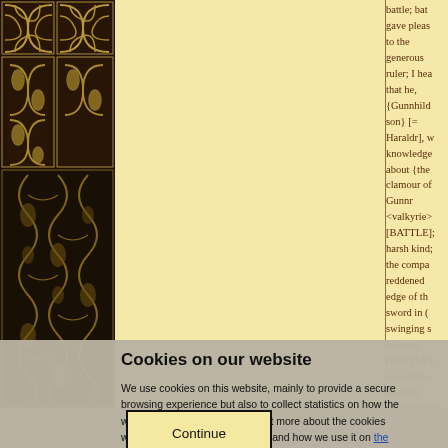[Figure (illustration): Decorative medieval/Norse knotwork pattern in dark brown on left border, two columns of ornate interlaced design]
battle; battle gave pleasure to the generous ruler; I hear that he, {Gunnhild's son} [= Haraldr], with knowledge about {the clamour of Gunnr <valkyrie>} [BATTLE]; the harsh kind; the company reddened edge of the sword in (swinging swords) [BATTLE]; lord of the Horðar) [NORWEGIAN KING = Haraldr] let {hard rain of battle}
Cookies on our website
We use cookies on this website, mainly to provide a secure browsing experience but also to collect statistics on how the website is used. You can find out more about the cookies we set, the information we store and how we use it on the cookies page.
Continue